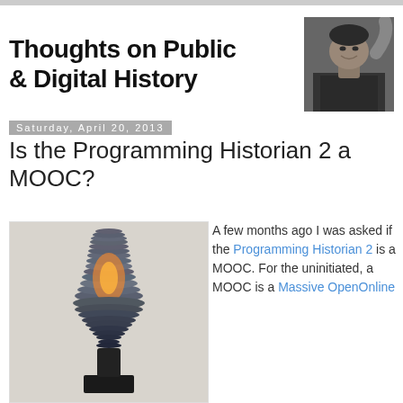Thoughts on Public & Digital History
[Figure (photo): Black and white portrait photo of a smiling man]
Saturday, April 20, 2013
Is the Programming Historian 2 a MOOC?
[Figure (photo): Photo of a metallic sculptural lamp or heater object with layered disc fins, glowing orange at center, on a black base, against light background]
A few months ago I was asked if the Programming Historian 2 is a MOOC. For the uninitiated, a MOOC is a Massive OpenOnline